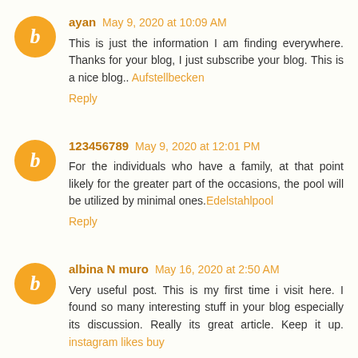ayan May 9, 2020 at 10:09 AM
This is just the information I am finding everywhere. Thanks for your blog, I just subscribe your blog. This is a nice blog.. Aufstellbecken
Reply
123456789 May 9, 2020 at 12:01 PM
For the individuals who have a family, at that point likely for the greater part of the occasions, the pool will be utilized by minimal ones.Edelstahlpool
Reply
albina N muro May 16, 2020 at 2:50 AM
Very useful post. This is my first time i visit here. I found so many interesting stuff in your blog especially its discussion. Really its great article. Keep it up. instagram likes buy